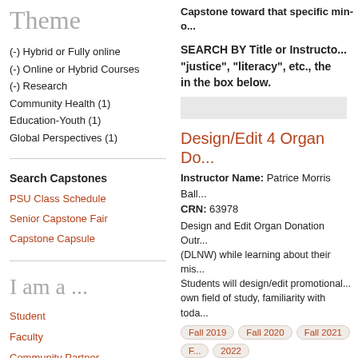Theme
(-) Hybrid or Fully online
(-) Online or Hybrid Courses
(-) Research
Community Health (1)
Education-Youth (1)
Global Perspectives (1)
Search Capstones
PSU Class Schedule
Senior Capstone Fair
Capstone Capsule
I am a ...
Student
Faculty
Community Partner
Capstone toward that specific minor.
SEARCH BY Title or Instructor: "justice", "literacy", etc., the in the box below.
Design/Edit 4 Organ Do
Instructor Name: Patrice Morris Ball
CRN: 63978
Design and Edit Organ Donation Outr (DLNW) while learning about their mis Students will design/edit promotional own field of study, familiarity with toda
Fall 2019  Fall 2020  Fall 2021  F 2022
Research  Global Perspectives  C Courses